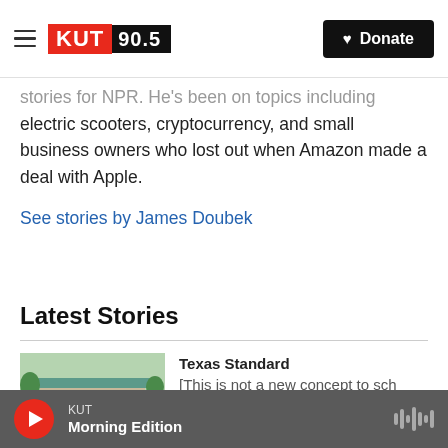KUT 90.5 — Donate
stories for NPR. He's been on topics including electric scooters, cryptocurrency, and small business owners who lost out when Amazon made a deal with Apple.
See stories by James Doubek
Latest Stories
Texas Standard
[This is not a new concept to sch
KUT Morning Edition